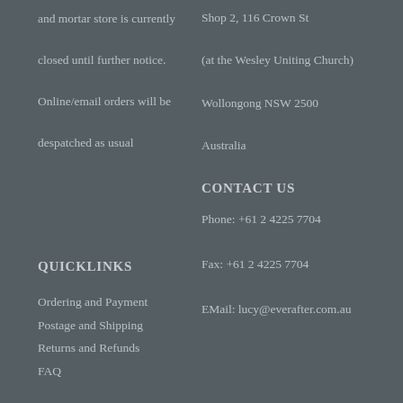and mortar store is currently closed until further notice.

Online/email orders will be despatched as usual
Shop 2, 116 Crown St
(at the Wesley Uniting Church)
Wollongong NSW 2500
Australia
CONTACT US
Phone: +61 2 4225 7704
Fax: +61 2 4225 7704
EMail: lucy@everafter.com.au
QUICKLINKS
Ordering and Payment
Postage and Shipping
Returns and Refunds
FAQ